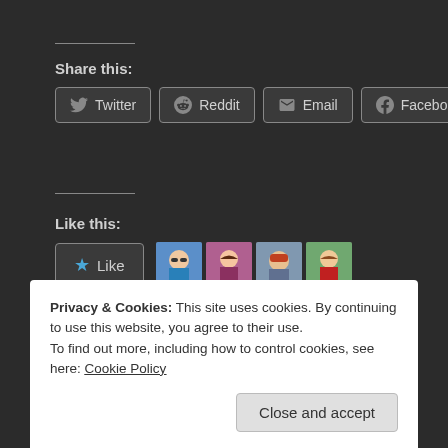Share this:
Twitter
Reddit
Email
Facebook
Like this:
[Figure (other): Like button with star icon and 4 blogger avatar thumbnails]
4 bloggers like this.
Related
Privacy & Cookies: This site uses cookies. By continuing to use this website, you agree to their use.
To find out more, including how to control cookies, see here: Cookie Policy
Close and accept